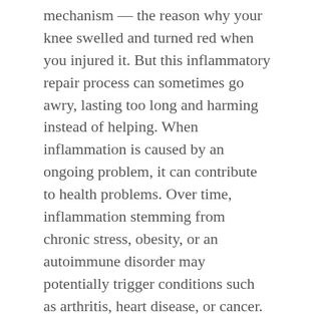mechanism — the reason why your knee swelled and turned red when you injured it. But this inflammatory repair process can sometimes go awry, lasting too long and harming instead of helping. When inflammation is caused by an ongoing problem, it can contribute to health problems. Over time, inflammation stemming from chronic stress, obesity, or an autoimmune disorder may potentially trigger conditions such as arthritis, heart disease, or cancer. It may also harm the brain. Researchers have found a link between higher levels of inflammation inside the brain and an elevated risk for cognitive decline and impairment. Regularly adding anti-inflammatory foods to your diet may help to switch off this process.
Three diets that